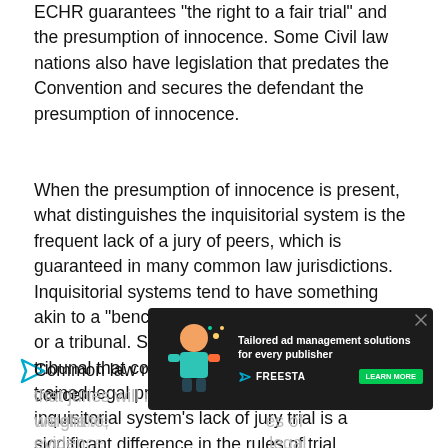ECHR guarantees "the right to a fair trial" and the presumption of innocence. Some Civil law nations also have legislation that predates the Convention and secures the defendant the presumption of innocence.
When the presumption of innocence is present, what distinguishes the inquisitorial system is the frequent lack of a jury of peers, which is guaranteed in many common law jurisdictions. Inquisitorial systems tend to have something akin to a "bench" trial made up of a single judge or a tribunal. Some Scandinavian nations have a tribunal that consists of one civilian and two trained legal professionals. One result of the inquisitorial system's lack of jury trial is a significant difference in the rules of trial evidence.
Common law rules of evidence are founded on a concern that juries will misuse, or give inappropriate weight to, unreliable evidence... rules of evidence... legal professionals are considered capable of identifying reliable...
[Figure (infographic): Tailored ad banner from Freesta with dark background showing an animated character with text 'Tailored ad management solutions for every publisher' and a green 'LEARN MORE' button.]